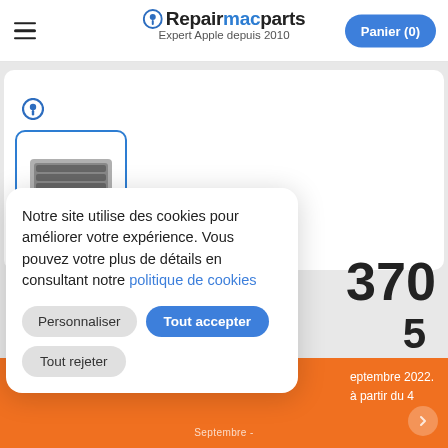Repairmacparts — Expert Apple depuis 2010 — Panier (0)
[Figure (screenshot): Thumbnail of a MacBook keyboard/palmrest part shown in a blue-bordered rounded box]
Notre site utilise des cookies pour améliorer votre expérience. Vous pouvez votre plus de détails en consultant notre politique de cookies
Personnaliser  Tout accepter  Tout rejeter
eptembre 2022. à partir du 4
370
Septembre -
Septembre - [truncated]